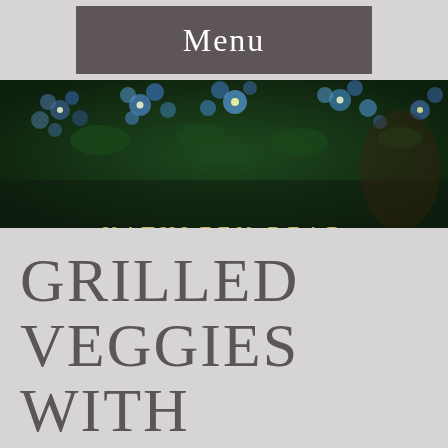Menu
[Figure (photo): Dark floral background photo with blue forget-me-not flowers, overlaid with author name KATHLEEN REAR in gold letters]
GRILLED VEGGIES WITH GINGER SESAME